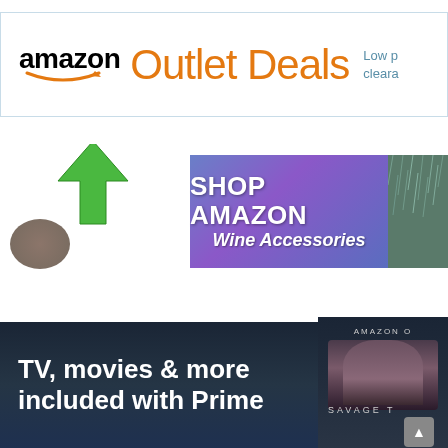[Figure (screenshot): Amazon Outlet Deals banner ad with Amazon logo in black and orange arrow/smile, 'Outlet Deals' in large orange text, and 'Low p... cleara...' text in blue on right]
[Figure (screenshot): Shop Amazon Wine Accessories banner ad with green upward arrow, grape/plants image on left, purple/blue gradient center with white bold text 'SHOP AMAZON Wine Accessories', and rain/water image on right]
[Figure (screenshot): Amazon Prime Video banner ad with dark navy background, white bold text 'TV, movies & more included with Prime', and right side showing 'AMAZON O' and 'SAVAGE T' labels with woman's silhouette, plus scroll-up button]